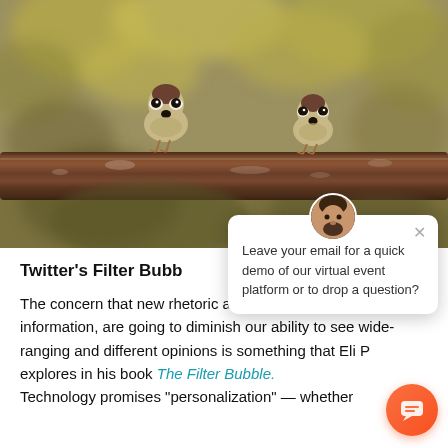[Figure (photo): Two small sparrow birds perched on a rusty metal pipe/railing with blurred green-yellow foliage in the background]
Twitter's Filter Bubble
The concern that new... rhetoric around open access to information, are going to diminish our ability to see wide-ranging and different opinions is something that Eli P... explores in his book The Filter Bubble. Technology promises "personalization" — whether
[Figure (screenshot): Chat popup overlay with user avatar, close button (×), and text: Leave your email for a quick demo of our virtual event platform or to drop a question? With orange chat button in bottom right.]